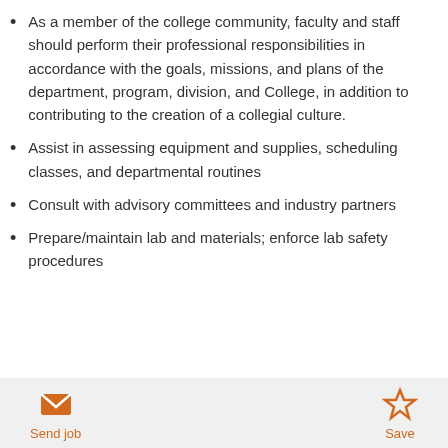As a member of the college community, faculty and staff should perform their professional responsibilities in accordance with the goals, missions, and plans of the department, program, division, and College, in addition to contributing to the creation of a collegial culture.
Assist in assessing equipment and supplies, scheduling classes, and departmental routines
Consult with advisory committees and industry partners
Prepare/maintain lab and materials; enforce lab safety procedures
Send job   Save